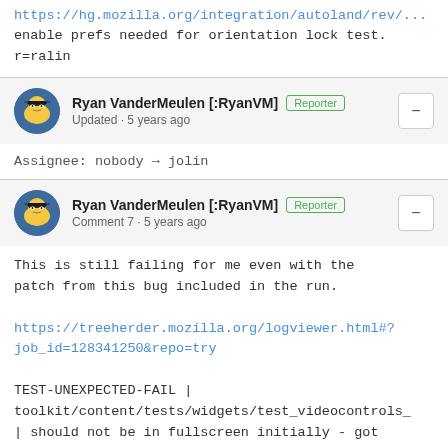https://hg.mozilla.org/integration/autoland/rev/... enable prefs needed for orientation lock test. r=ralin
Ryan VanderMeulen [:RyanVM] Reporter
Updated • 5 years ago
Assignee: nobody → jolin
Ryan VanderMeulen [:RyanVM] Reporter
Comment 7 • 5 years ago
This is still failing for me even with the patch from this bug included in the run.
https://treeherder.mozilla.org/logviewer.html#?job_id=128341250&repo=try
TEST-UNEXPECTED-FAIL | toolkit/content/tests/widgets/test_videocontrols_
| should not be in fullscreen initially - got undefined, expected null